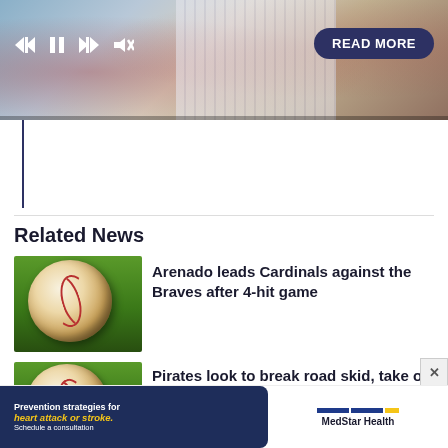[Figure (photo): Video player showing a baseball player pitching, with playback controls (skip back, pause, skip forward, mute) and a READ MORE button overlay on the upper right]
Related News
[Figure (photo): Close-up photo of a baseball on green grass]
Arenado leads Cardinals against the Braves after 4-hit game
[Figure (photo): Close-up photo of a baseball on green grass]
Pirates look to break road skid, take on the Phillies
[Figure (infographic): Advertisement banner: Prevention strategies for heart attack or stroke. Schedule a consultation. MedStar Health logo.]